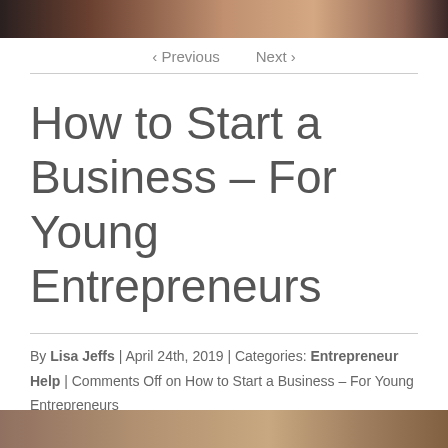[Figure (photo): Partial photo of a person visible at the top of the page (hair and face partially visible)]
‹ Previous   Next ›
How to Start a Business – For Young Entrepreneurs
By Lisa Jeffs | April 24th, 2019 | Categories: Entrepreneur Help | Comments Off on How to Start a Business – For Young Entrepreneurs
[Figure (photo): Partial photo visible at the bottom of the page]